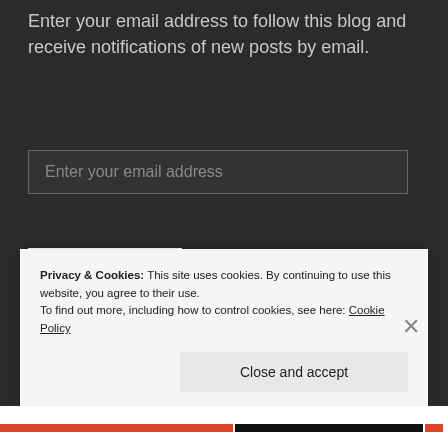Enter your email address to follow this blog and receive notifications of new posts by email.
Enter your email address
FOLLOW
Join 1,721 other followers
META
Privacy & Cookies: This site uses cookies. By continuing to use this website, you agree to their use.
To find out more, including how to control cookies, see here: Cookie Policy
Close and accept